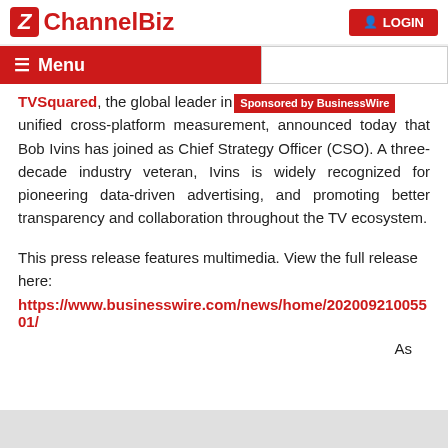ChannelBiz | LOGIN
Menu
TVSquared, the global leader in unified cross-platform measurement, announced today that Bob Ivins has joined as Chief Strategy Officer (CSO). A three-decade industry veteran, Ivins is widely recognized for pioneering data-driven advertising, and promoting better transparency and collaboration throughout the TV ecosystem.
This press release features multimedia. View the full release here:
https://www.businesswire.com/news/home/20200921005501/
As